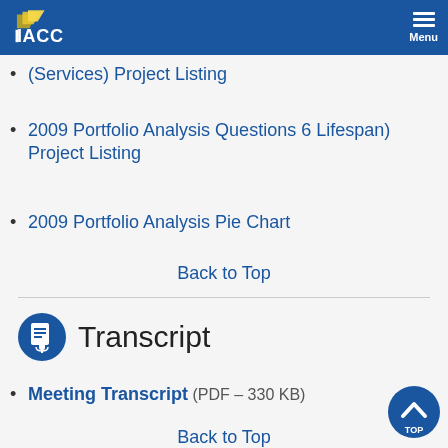IACC — Menu
(Services) Project Listing
2009 Portfolio Analysis Questions 6 Lifespan) Project Listing
2009 Portfolio Analysis Pie Chart
Back to Top
Transcript
Meeting Transcript (PDF – 330 KB)
Back to Top